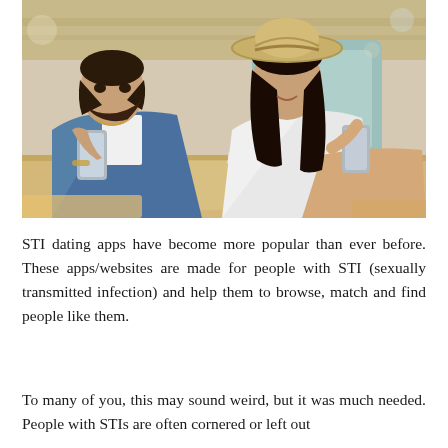[Figure (photo): A man and woman sitting at a cafe table, both looking at their smartphones. The man wears a denim jacket and the woman wears a white top and a straw hat. There are coffee cups and a camera on the table.]
STI dating apps have become more popular than ever before. These apps/websites are made for people with STI (sexually transmitted infection) and help them to browse, match and find people like them.
To many of you, this may sound weird, but it was much needed. People with STIs are often cornered or left out